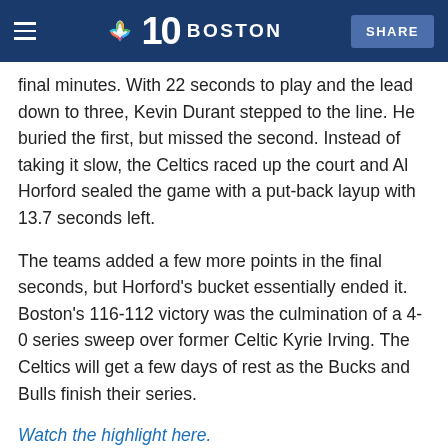NBC 10 Boston | SHARE
chance on Monday. Brooklyn entered the fourth quarter down by six, but they mounted a late run. Unfortunately that momentum faded in the final minutes. With 22 seconds to play and the lead down to three, Kevin Durant stepped to the line. He buried the first, but missed the second. Instead of taking it slow, the Celtics raced up the court and Al Horford sealed the game with a put-back layup with 13.7 seconds left.
The teams added a few more points in the final seconds, but Horford's bucket essentially ended it. Boston's 116-112 victory was the culmination of a 4-0 series sweep over former Celtic Kyrie Irving. The Celtics will get a few days of rest as the Bucks and Bulls finish their series.
Watch the highlight here.
April 24: Herb Jones puts on a defensive clinic vs.